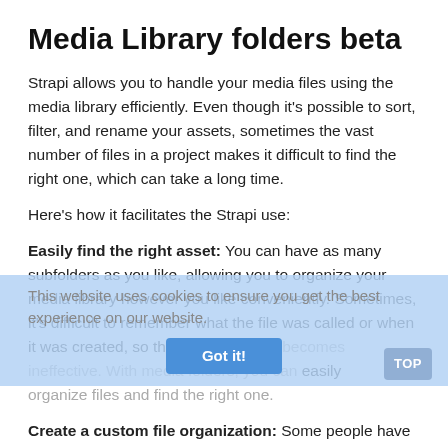Media Library folders beta
Strapi allows you to handle your media files using the media library efficiently. Even though it's possible to sort, filter, and rename your assets, sometimes the vast number of files in a project makes it difficult to find the right one, which can take a long time.
Here's how it facilitates the Strapi use:
Easily find the right asset: You can have as many subfolders as you like, allowing you to organize your media library however you like conveniently. Sometimes, it's difficult to remember what the file was called or when it was created, so the sorting feature becomes ineffective. With media folders, you can easily organize files and find the right one.
This website uses cookies to ensure you get the best experience on our website.
Create a custom file organization: Some people have a more refined sense of organization than others, so standard sorting methods won't work for them. To sort through things, folders work best because you can create folders using any sorting system you wish. Great news for perfectionists – folders can be